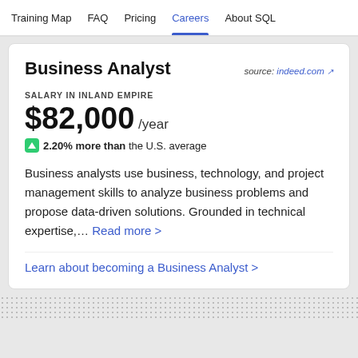Training Map   FAQ   Pricing   Careers   About SQL
Business Analyst
source: indeed.com
SALARY IN INLAND EMPIRE
$82,000 /year
2.20% more than the U.S. average
Business analysts use business, technology, and project management skills to analyze business problems and propose data-driven solutions. Grounded in technical expertise,... Read more >
Learn about becoming a Business Analyst >